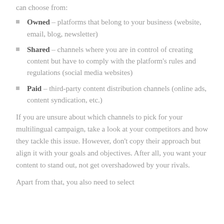can choose from:
Owned – platforms that belong to your business (website, email, blog, newsletter)
Shared – channels where you are in control of creating content but have to comply with the platform's rules and regulations (social media websites)
Paid – third-party content distribution channels (online ads, content syndication, etc.)
If you are unsure about which channels to pick for your multilingual campaign, take a look at your competitors and how they tackle this issue. However, don't copy their approach but align it with your goals and objectives. After all, you want your content to stand out, not get overshadowed by your rivals.
Apart from that, you also need to select...